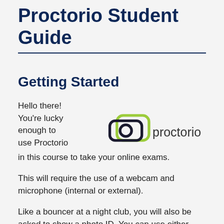Proctorio Student Guide
Getting Started
Hello there! You're lucky enough to use Proctorio in this course to take your online exams.
[Figure (logo): Proctorio logo with camera icon and green/dark rounded rectangle design, plus the word 'proctorio' in dark gray sans-serif text]
This will require the use of a webcam and microphone (internal or external).
Like a bouncer at a night club, you will also be asked to show a photo ID. You can use either